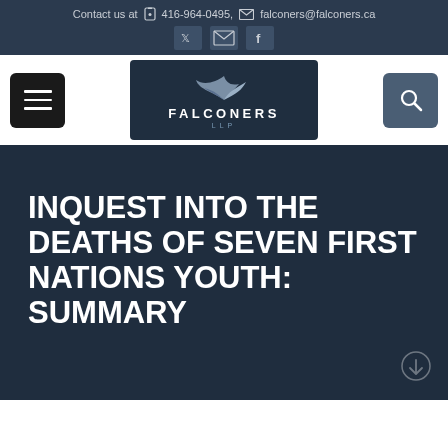Contact us at  416-964-0495,  falconers@falconers.ca
[Figure (logo): Falconers LLP logo with stylized falcon wing and text FALCONERS LLP on dark navy background]
INQUEST INTO THE DEATHS OF SEVEN FIRST NATIONS YOUTH: SUMMARY